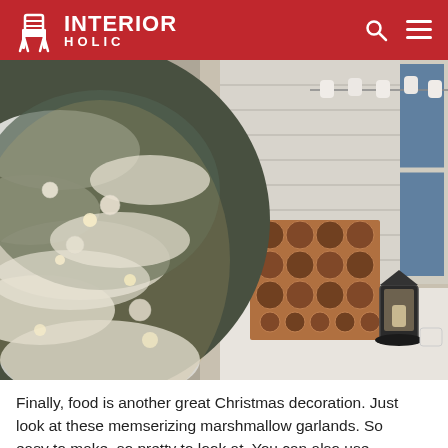INTERIOR HOLIC
[Figure (photo): A snow-covered Christmas tree decorated with white ornaments and lights, next to a fireplace-style display with stacked wood logs, a lantern, and marshmallow garland lights visible in the background near a window.]
Finally, food is another great Christmas decoration. Just look at these memserizing marshmallow garlands. So easy to make, so pretty to look at. You can also use candy canes to enrich your